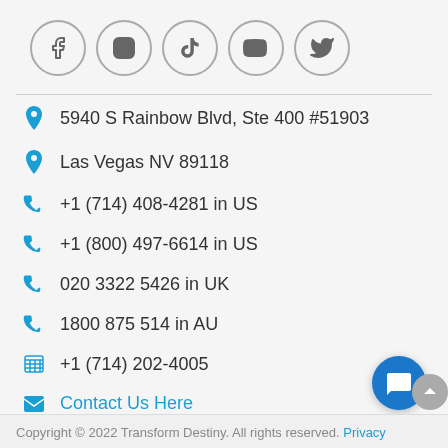[Figure (other): Row of 5 social media icon circles: Facebook, Instagram, TikTok, YouTube, Twitter]
5940 S Rainbow Blvd, Ste 400 #51903
Las Vegas NV 89118
+1 (714) 408-4281 in US
+1 (800) 497-6614 in US
020 3322 5426 in UK
1800 875 514 in AU
+1 (714) 202-4005
Contact Us Here
Copyright © 2022 Transform Destiny. All rights reserved. Privacy